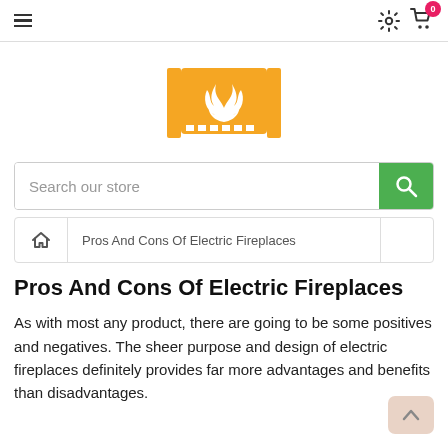Navigation bar with hamburger menu, gear/settings icon, and shopping cart with badge '0'
[Figure (logo): Orange fireplace logo icon with flame, flanked by two vertical orange bars]
Search our store
Pros And Cons Of Electric Fireplaces
Pros And Cons Of Electric Fireplaces
As with most any product, there are going to be some positives and negatives. The sheer purpose and design of electric fireplaces definitely provides far more advantages and benefits than disadvantages.